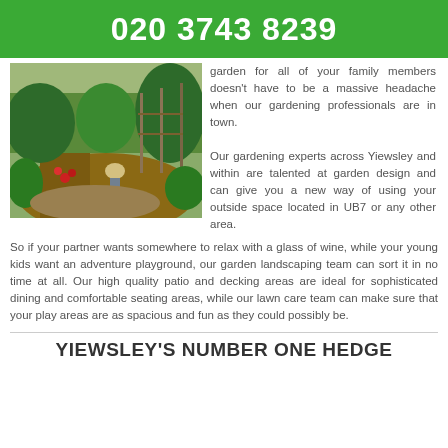020 3743 8239
[Figure (photo): A person kneeling and working in a lush garden with plants, trees, and a path.]
garden for all of your family members doesn't have to be a massive headache when our gardening professionals are in town.
Our gardening experts across Yiewsley and within are talented at garden design and can give you a new way of using your outside space located in UB7 or any other area.
So if your partner wants somewhere to relax with a glass of wine, while your young kids want an adventure playground, our garden landscaping team can sort it in no time at all. Our high quality patio and decking areas are ideal for sophisticated dining and comfortable seating areas, while our lawn care team can make sure that your play areas are as spacious and fun as they could possibly be.
YIEWSLEY'S NUMBER ONE HEDGE